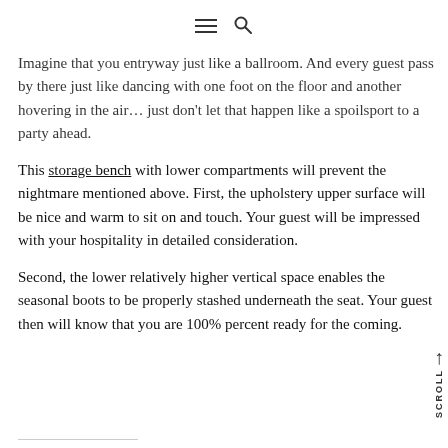≡ 🔍
Imagine that you entryway just like a ballroom. And every guest pass by there just like dancing with one foot on the floor and another hovering in the air… just don't let that happen like a spoilsport to a party ahead.
This storage bench with lower compartments will prevent the nightmare mentioned above. First, the upholstery upper surface will be nice and warm to sit on and touch. Your guest will be impressed with your hospitality in detailed consideration.
Second, the lower relatively higher vertical space enables the seasonal boots to be properly stashed underneath the seat. Your guest then will know that you are 100% percent ready for the coming.